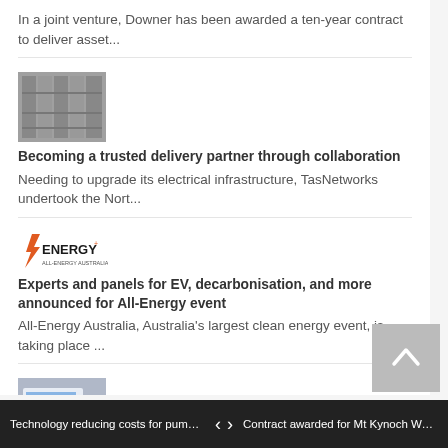In a joint venture, Downer has been awarded a ten-year contract to deliver asset...
[Figure (photo): Thumbnail image of industrial electrical equipment/cabinets]
Becoming a trusted delivery partner through collaboration
Needing to upgrade its electrical infrastructure, TasNetworks undertook the Nort...
[Figure (logo): All-Energy event logo with orange and dark text reading ENERGY]
Experts and panels for EV, decarbonisation, and more announced for All-Energy event
All-Energy Australia, Australia's largest clean energy event, is taking place ...
[Figure (photo): Thumbnail of person working at a computer with data/charts on screen]
Software as a Service: making sense of your smart water meter data
Technology reducing costs for pump mai...
Technology reducing costs for pump mai... | < > | Contract awarded for Mt Kynoch Water Tr...